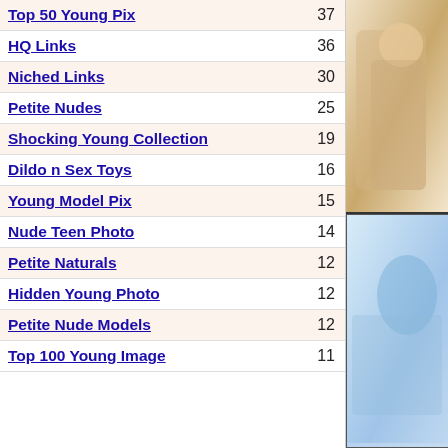Top 50 Young Pix  37
HQ Links  36
Niched Links  30
Petite Nudes  25
Shocking Young Collection  19
Dildo n Sex Toys  16
Young Model Pix  15
Nude Teen Photo  14
Petite Naturals  12
Hidden Young Photo  12
Petite Nude Models  12
Top 100 Young Image  11
[Figure (photo): Partial photo visible on right side top — person in light clothing on couch]
[Figure (photo): Partial image visible on right side bottom — light blue tones]